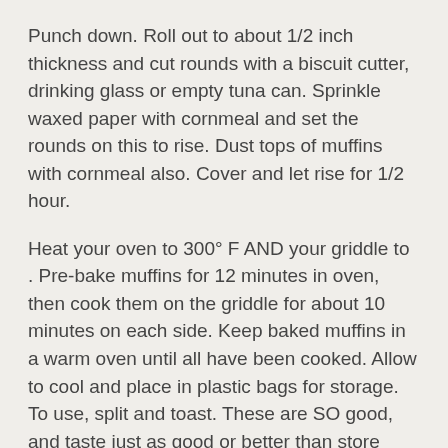Punch down.  Roll out to about 1/2 inch thickness and cut rounds with a biscuit cutter, drinking glass or empty tuna can.  Sprinkle waxed paper with cornmeal and set the rounds on this to rise.  Dust tops of muffins with cornmeal also.  Cover and let rise for 1/2 hour.
Heat your oven to 300° F AND your griddle to .  Pre-bake muffins for 12 minutes in oven, then cook them on the griddle for about 10 minutes on each side.  Keep baked muffins in a warm oven until all have been cooked.  Allow to cool and place in plastic bags for storage.  To use, split and toast.  These are SO good, and taste just as good or better than store bought !  We loved them!